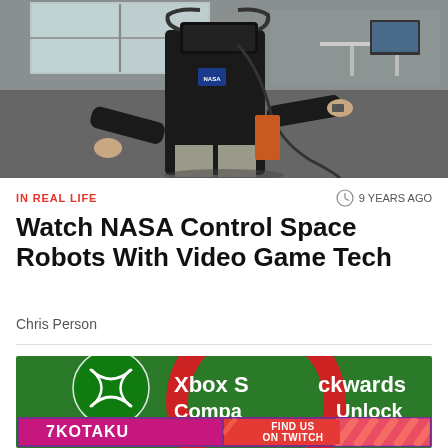[Figure (photo): Person wearing VR headset and NASA-branded black top, standing in an office/lab environment with arms outstretched, cables attached, controlling something with gestures.]
IN REAL LIFE
9 YEARS AGO
Watch NASA Control Space Robots With Video Game Tech
Chris Person
[Figure (screenshot): Xbox Series backwards compatibility promotion banner, with Kotaku and 'Find Us On Twitch' overlay advertisement at the bottom.]